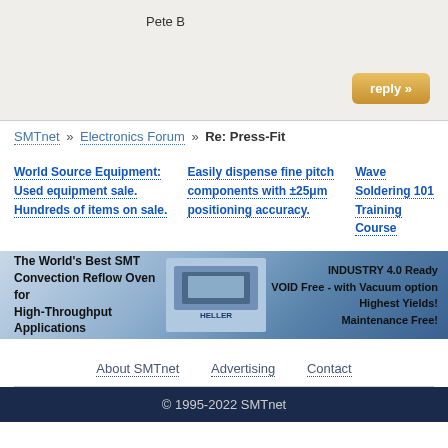Pete B
reply »
SMTnet » Electronics Forum » Re: Press-Fit
World Source Equipment: Used equipment sale. Hundreds of items on sale.
Easily dispense fine pitch components with ±25μm positioning accuracy.
Wave Soldering 101 Training Course
[Figure (infographic): Banner advertisement for Heller SMT Convection Reflow Oven. Left text: The World's Best SMT Convection Reflow Oven for High-Throughput Applications. Center: Heller logo and oven image. Right text: INDUSTRY 4.0 Ready, VOID Free - with Vacuum option, Highest Yields!, Maintenance Free!]
About SMTnet   Advertising   Contact
© 1995-2022 SMTnet